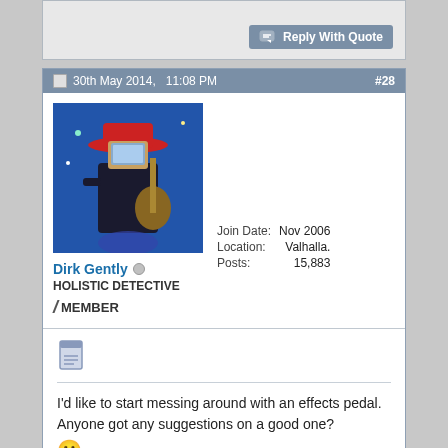Reply With Quote
30th May 2014,   11:08 PM  #28
[Figure (photo): Avatar image of Dirk Gently showing a stylized figure with a red hat playing guitar]
Dirk Gently
HOLISTIC DETECTIVE
/ MEMBER
| Join Date: | Nov 2006 |
| Location: | Valhalla. |
| Posts: | 15,883 |
I'd like to start messing around with an effects pedal. Anyone got any suggestions on a good one? 🙂
[Figure (illustration): Blue cartoon robot/figure at the bottom of the post]